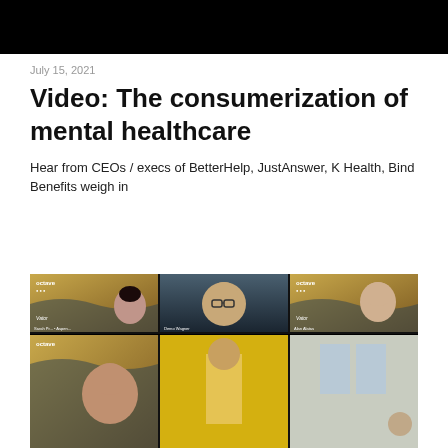[Figure (photo): Black rectangular banner image at top of page]
July 15, 2021
Video: The consumerization of mental healthcare
Hear from CEOs / execs of BetterHelp, JustAnswer, K Health, Bind Benefits weigh in
[Figure (screenshot): Video conference screenshot showing six participants in a grid layout. Top row shows three participants: a woman with dark hair on left with Octave/Vator branding, a man in center with glasses, and a bald man on right with Octave/Vator branding. Bottom row shows three more participants partially visible. Labels visible include 'Octave', 'Vator', participant names at bottom of each cell.]